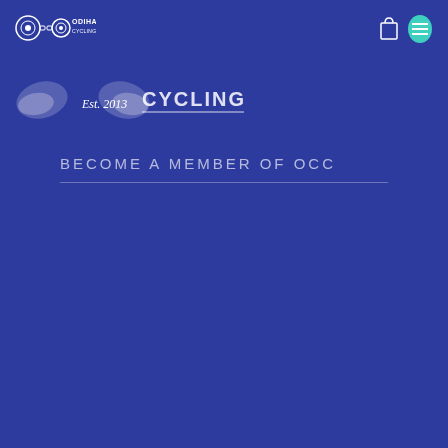[Figure (logo): Odiham Cycling Club logo with chain graphic and text ODIHAM CYCLING CLUB]
[Figure (logo): Shopping bag icon and teal egg/avatar icon in navigation bar]
[Figure (logo): Large Odiham Cycling Club hero banner logo with wing shapes, Est. 2013, and CYCLING CLUB text with underline]
BECOME A MEMBER OF OCC